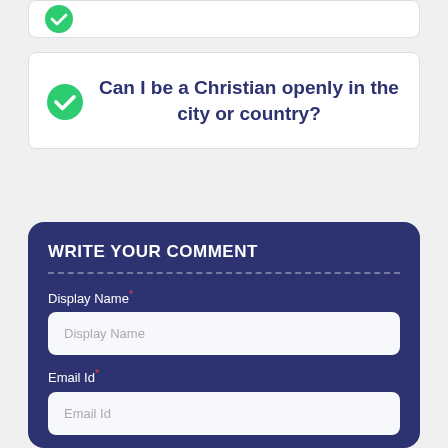[Figure (other): Partial green checkmark icon at top of page, cropped]
Can I be a Christian openly in the city or country?
WRITE YOUR COMMENT
Display Name*
Display Name (placeholder)
Email Id*
Email Id (placeholder)
Write Comment*